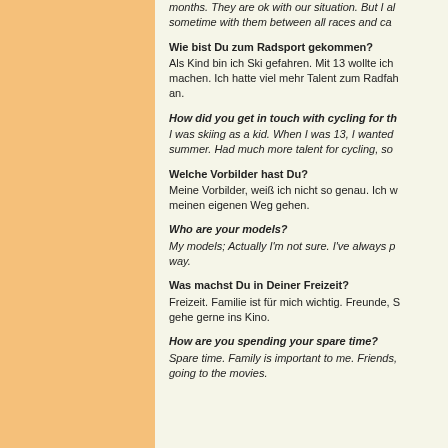months. They are ok with our situation. But I al sometime with them between all races and ca
Wie bist Du zum Radsport gekommen?
Als Kind bin ich Ski gefahren. Mit 13 wollte ich machen. Ich hatte viel mehr Talent zum Radfah an.
How did you get in touch with cycling for th I was skiing as a kid. When I was 13, I wanted summer. Had much more talent for cycling, so
Welche Vorbilder hast Du?
Meine Vorbilder, weiß ich nicht so genau. Ich w meinen eigenen Weg gehen.
Who are your models?
My models; Actually I'm not sure. I've always p way.
Was machst Du in Deiner Freizeit?
Freizeit. Familie ist für mich wichtig. Freunde, S gehe gerne ins Kino.
How are you spending your spare time?
Spare time. Family is important to me. Friends, going to the movies.